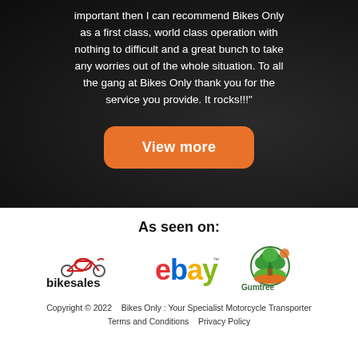important then I can recommend Bikes Only as a first class, world class operation with nothing to difficult and a great bunch to take any worries out of the whole situation. To all the gang at Bikes Only thank you for the service you provide. It rocks!!!"
View more
As seen on:
[Figure (logo): bikesales logo - red motorbike icon with 'bikesales' text in black]
[Figure (logo): eBay logo in multicolor red/blue/yellow/green]
[Figure (logo): Gumtree logo - circular green/orange/teal tree illustration with 'Gumtree' text]
Copyright © 2022    Bikes Only : Your Specialist Motorcycle Transporter
Terms and Conditions    Privacy Policy